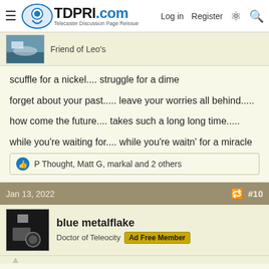TDPRI.com — Telecaster Discussion Page Reissue | Log in | Register
Friend of Leo's
scuffle for a nickel.... struggle for a dime

forget about your past..... leave your worries all behind.....

how come the future.... takes such a long long time.....

while you're waiting for.... while you're waitn' for a miracle
P Thought, Matt G, markal and 2 others
Jan 13, 2022   #10
blue metalflake
Doctor of Teleocity   Ad Free Member
I jumped careers in my mid forties for a less stressful job, where I stayed for another 20 years. Bit less pay, but the more relaxed